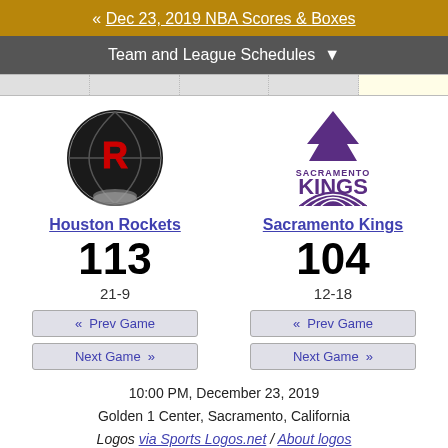« Dec 23, 2019 NBA Scores & Boxes
Team and League Schedules ▼
Houston Rockets 113 21-9 vs Sacramento Kings 104 12-18
10:00 PM, December 23, 2019
Golden 1 Center, Sacramento, California
Logos via Sports Logos.net / About logos